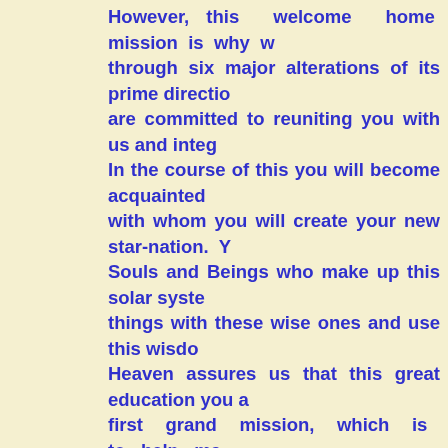However, this welcome home mission is why we went through six major alterations of its prime direction. We are committed to reuniting you with us and integrating. In the course of this you will become acquainted with whom you will create your new star-nation. You Souls and Beings who make up this solar system things with these wise ones and use this wisdom Heaven assures us that this great education you a first grand mission, which is to help man consciousness. In this endeavor you will have ma
The non-human star-nations in this organization They are already embarking upon what you are sh whole operation is contingent upon your success. You carry within you myriad RNA/DNA that must n re-sequenced by us. This amazing operation Chambers. These living entities will work with counterparts to literally reconstitute you as a fu your full-conscious faculties, you will join with AEON. You will have certain supreme qualities wh turn this galaxy toward the Light, and prepare he again, you can begin to glimpse the significance expected of those to whom much is given!